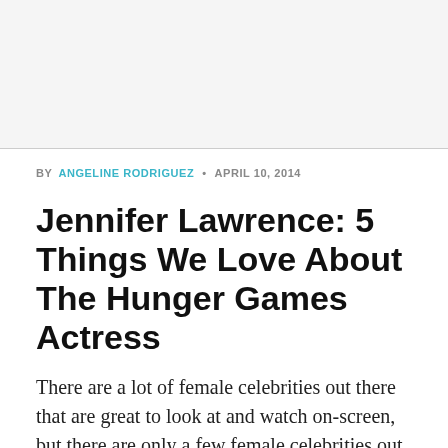BY ANGELINE RODRIGUEZ • APRIL 10, 2014
Jennifer Lawrence: 5 Things We Love About The Hunger Games Actress
There are a lot of female celebrities out there that are great to look at and watch on-screen, but there are only a few female celebrities out there that people truly love because of how relatable they are on- and off-screen.